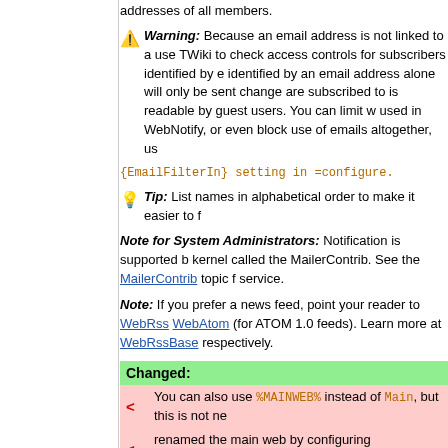addresses of all members.
Warning: Because an email address is not linked to a user TWiki to check access controls for subscribers identified by e identified by an email address alone will only be sent change are subscribed to is readable by guest users. You can limit w used in WebNotify, or even block use of emails altogether, us {EmailFilterIn} setting in =configure.
Tip: List names in alphabetical order to make it easier to f
Note for System Administrators: Notification is supported b kernel called the MailerContrib. See the MailerContrib topic f service.
Note: If you prefer a news feed, point your reader to WebRss WebAtom (for ATOM 1.0 feeds). Learn more at WebRssBase respectively.
Changed:
You can also use %MAINWEB% instead of Main, but this is not ne
renamed the main web by configuring $mainWebname in TWiki.
You can also use %MAINWEB% instead of Main, but this is not ne